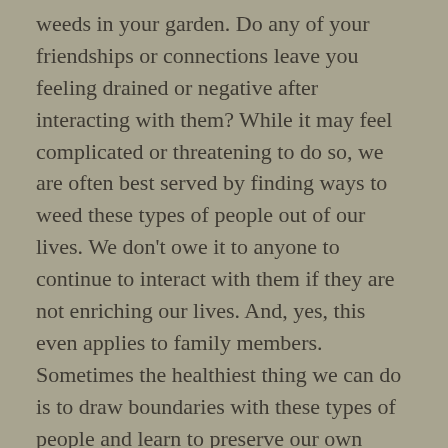weeds in your garden.  Do any of your friendships or connections leave you feeling drained or negative after interacting with them?  While it may feel complicated or threatening to do so, we are often best served by finding ways to weed these types of people out of our lives.  We don't owe it to anyone to continue to interact with them if they are not enriching our lives.  And, yes, this even applies to family members.  Sometimes the healthiest thing we can do is to draw boundaries with these types of people and learn to preserve our own well-being.  If this is something that you would struggle to do, this might be a good indication that talking to a therapist might be helpful.